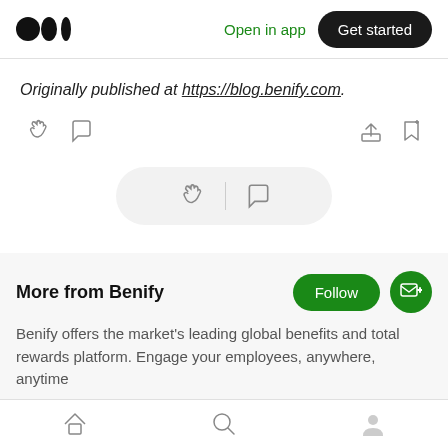Medium logo | Open in app | Get started
Originally published at https://blog.benify.com.
[Figure (other): Action bar with clap icon, comment icon on left, share icon and bookmark icon on right]
[Figure (other): Floating pill with clap icon and comment icon]
More from Benify
Benify offers the market's leading global benefits and total rewards platform. Engage your employees, anywhere, anytime